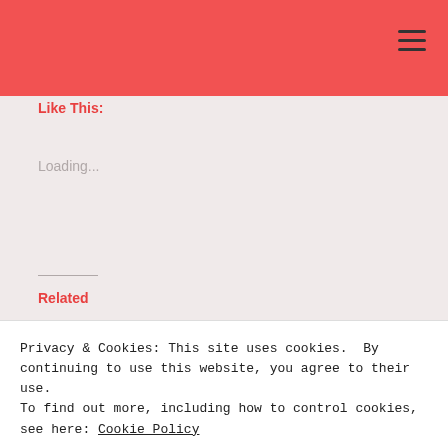Like This:
Loading...
Related
[Figure (illustration): Decorative frame with colorful flowers (red, purple) and green leaves around text 'Thats a Wrap']
[Figure (illustration): White/light grey card with purple italic text '☆ Blogger Love ☆']
Privacy & Cookies: This site uses cookies. By continuing to use this website, you agree to their use.
To find out more, including how to control cookies, see here: Cookie Policy
Close and accept